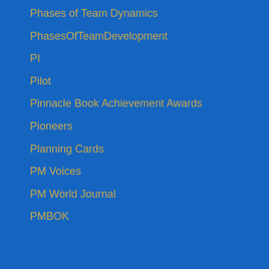Phases of Team Dynamics
PhasesOfTeamDevelopment
PI
Pilot
Pinnacle Book Achievement Awards
Pioneers
Planning Cards
PM Voices
PM World Journal
PMBOK